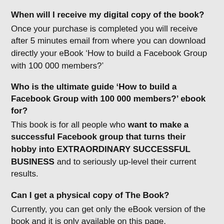When will I receive my digital copy of the book?
Once your purchase is completed you will receive after 5 minutes email from where you can download directly your eBook ‘How to build a Facebook Group with 100 000 members?’
Who is the ultimate guide ‘How to build a Facebook Group with 100 000 members?’ ebook for?
This book is for all people who want to make a successful Facebook group that turns their hobby into EXTRAORDINARY SUCCESSFUL BUSINESS and to seriously up-level their current results.
Can I get a physical copy of The Book?
Currently, you can get only the eBook version of the book and it is only available on this page.